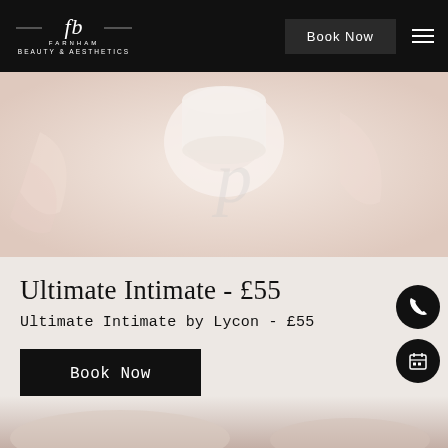[Figure (screenshot): Farnham Beauty & Aesthetics navigation bar with logo, Book Now button, and hamburger menu on black background]
[Figure (photo): Close-up photo of waxing supplies - wax roll, applicators on peachy/cream background]
Ultimate Intimate - £55
Ultimate Intimate by Lycon - £55
Book Now
[Figure (illustration): Phone call icon - white phone on black circle]
[Figure (illustration): Calendar/booking icon - white calendar on black circle]
[Figure (photo): Bottom strip showing partial view of beauty treatment photo]